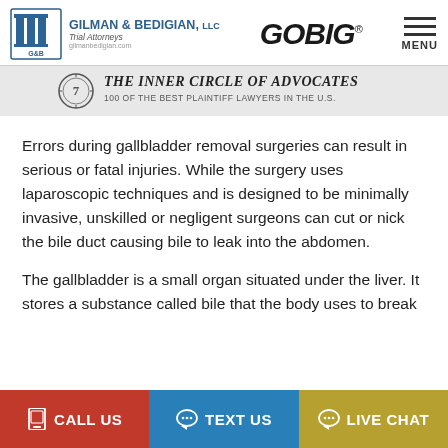GILMAN & BEDIGIAN, LLC Trial Attorneys | GOBIG | MENU
[Figure (logo): The Inner Circle of Advocates - 100 of the best plaintiff lawyers in the U.S. badge with number 7]
Errors during gallbladder removal surgeries can result in serious or fatal injuries. While the surgery uses laparoscopic techniques and is designed to be minimally invasive, unskilled or negligent surgeons can cut or nick the bile duct causing bile to leak into the abdomen.
The gallbladder is a small organ situated under the liver. It stores a substance called bile that the body uses to break
CALL US | TEXT US | LIVE CHAT